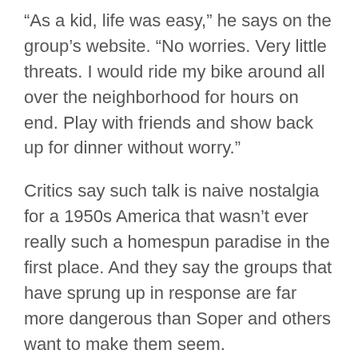“As a kid, life was easy,” he says on the group’s website. “No worries. Very little threats. I would ride my bike around all over the neighborhood for hours on end. Play with friends and show back up for dinner without worry.”
Critics say such talk is naive nostalgia for a 1950s America that wasn’t ever really such a homespun paradise in the first place. And they say the groups that have sprung up in response are far more dangerous than Soper and others want to make them seem.
“The idea that he needs to face down the government with weapons I think is really, really wrong,” Potok said. “They don’t really say that, but I think that is what is right under the surface.”